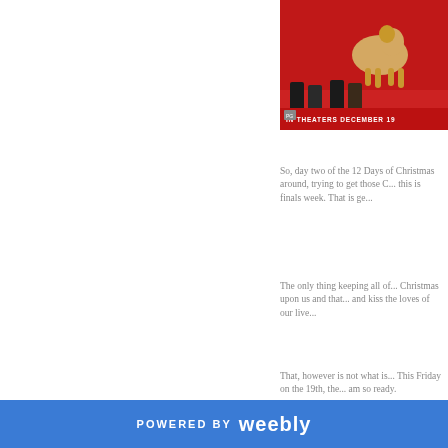[Figure (photo): Movie poster with red background showing a dog, text reads IN THEATERS DECEMBER 19]
So, day two of the 12 Days of Christmas around, trying to get those C... this is finals week. That is ge...
The only thing keeping all of... Christmas upon us and that... and kiss the loves of our live...
That, however is not what is... This Friday on the 19th, the... am so ready.
[Figure (photo): Close-up photo of a woman with red curly hair and dramatic makeup, appearing emotional]
POWERED BY weebly